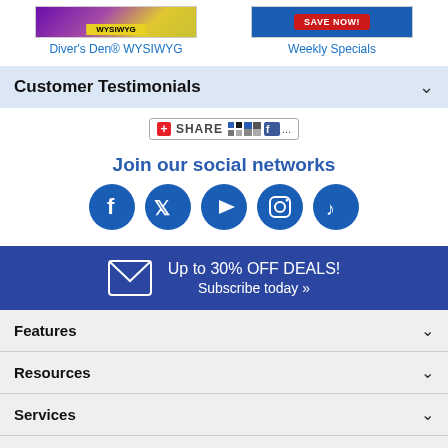[Figure (screenshot): Two promotional image links: Diver's Den WYSIWYG and Weekly Specials]
Diver's Den® WYSIWYG
Weekly Specials
Customer Testimonials
[Figure (screenshot): Share button with social icons]
Join our social networks
[Figure (illustration): Social media icons: Facebook, Twitter, YouTube, Instagram, TikTok]
[Figure (infographic): Email subscription banner: Up to 30% OFF DEALS! Subscribe today »]
Features
Resources
Services
Help
About Us